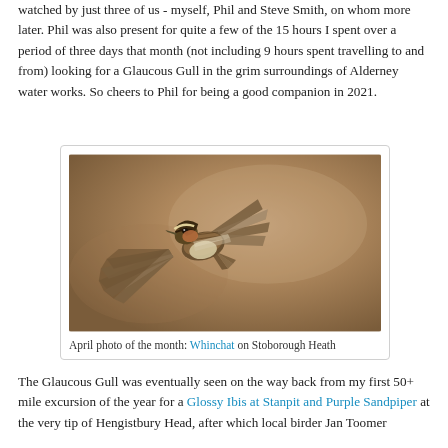watched by just three of us - myself, Phil and Steve Smith, on whom more later. Phil was also present for quite a few of the 15 hours I spent over a period of three days that month (not including 9 hours spent travelling to and from) looking for a Glaucous Gull in the grim surroundings of Alderney water works. So cheers to Phil for being a good companion in 2021.
[Figure (photo): A small brown bird (Whinchat) in flight with wings spread, photographed against a blurred warm brown background. April photo of the month.]
April photo of the month: Whinchat on Stoborough Heath
The Glaucous Gull was eventually seen on the way back from my first 50+ mile excursion of the year for a Glossy Ibis at Stanpit and Purple Sandpiper at the very tip of Hengistbury Head, after which local birder Jan Toomer